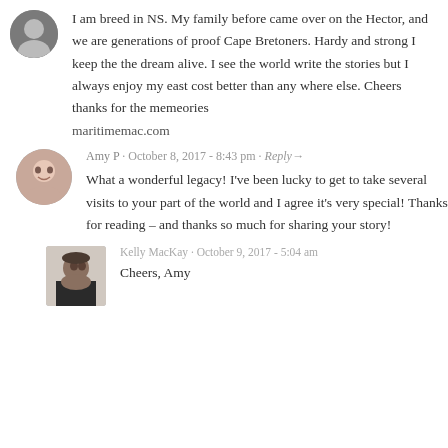[Figure (photo): Small circular avatar photo of a person, top left]
I am breed in NS. My family before came over on the Hector, and we are generations of proof Cape Bretoners. Hardy and strong I keep the the dream alive. I see the world write the stories but I always enjoy my east cost better than any where else. Cheers thanks for the memeories
maritimemac.com
[Figure (photo): Circular avatar photo of Amy P, a smiling woman]
Amy P · October 8, 2017 - 8:43 pm · Reply→
What a wonderful legacy! I've been lucky to get to take several visits to your part of the world and I agree it's very special! Thanks for reading – and thanks so much for sharing your story!
[Figure (photo): Rectangular avatar photo of Kelly MacKay, a woman with dark hair and hat]
Kelly MacKay · October 9, 2017 - 5:04 am
Cheers, Amy